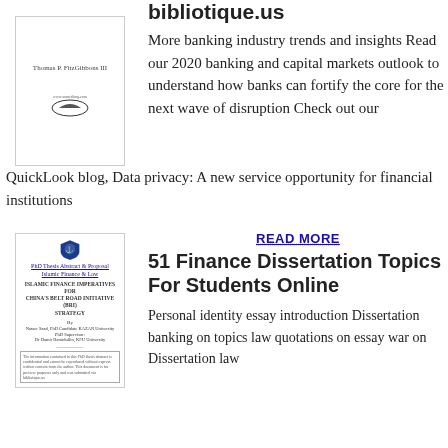bibliotique.us
[Figure (illustration): Book cover with author name Thomas P. FitzGibbons III and a logo/icon at the bottom]
More banking industry trends and insights Read our 2020 banking and capital markets outlook to understand how banks can fortify the core for the next wave of disruption Check out our QuickLook blog, Data privacy: A new service opportunity for financial institutions
READ MORE
51 Finance Dissertation Topics For Students Online
[Figure (illustration): PhD Thesis Abstract & Proposal - Islamic Finance & Law cover page with shield logo, title ISLAMIC FINANCE IMPERATIVES FOR CHINA'S BELT ROAD INITIATIVE (BRI) STRATEGY]
Personal identity essay introduction Dissertation banking on topics law quotations on essay war on Dissertation law